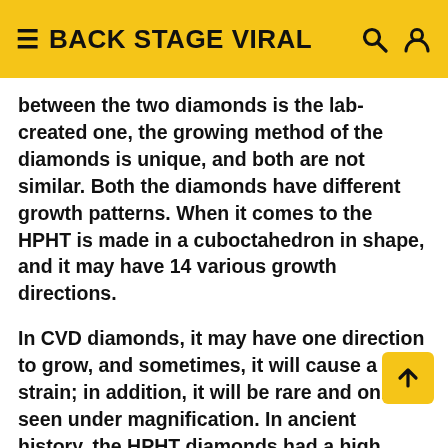≡ BACK STAGE VIRAL 🔍 👤
between the two diamonds is the lab-created one, the growing method of the diamonds is unique, and both are not similar. Both the diamonds have different growth patterns. When it comes to the HPHT is made in a cuboctahedron in shape, and it may have 14 various growth directions.
In CVD diamonds, it may have one direction to grow, and sometimes, it will cause a strain; in addition, it will be rare and only seen under magnification. In ancient history, the HPHT diamonds had a high amount of color, and now with the advanced technology, both methods are growing the diamond is colorless.
Which is better- HPHT and CVD?